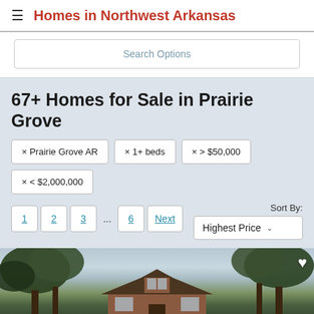Homes in Northwest Arkansas
Search Options
67+ Homes for Sale in Prairie Grove
× Prairie Grove AR
× 1+ beds
× > $50,000
× < $2,000,000
1  2  3  ...  6  Next
Sort By: Highest Price
[Figure (photo): Exterior photo of a brick house in Prairie Grove AR with trees and cloudy sky visible]